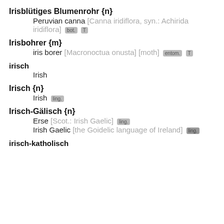Irisblütiges Blumenrohr {n}
Peruvian canna [Canna iridiflora, syn.: Achirida iridiflora] [bot.] [T]
Irisbohrer {m}
iris borer [Macronoctua onusta] [moth] [entom.] [T]
irisch
Irish
Irisch {n}
Irish [ling.]
Irisch-Gälisch {n}
Erse [Scot.: Irish Gaelic] [ling.]
Irish Gaelic [the Goidelic language of Ireland] [ling.]
irisch-katholisch